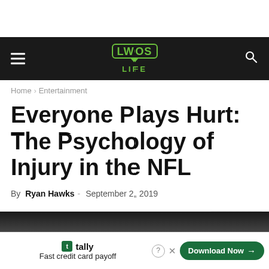[Figure (screenshot): LWOS Life website navigation bar with hamburger menu on left, LWOS LIFE logo in center (green speech bubble style), and search icon on right, all on dark background]
Home › Entertainment
Everyone Plays Hurt: The Psychology of Injury in the NFL
By Ryan Hawks - September 2, 2019
[Figure (photo): Partial dark photo strip at bottom of article page]
× Close
[Figure (screenshot): Tally advertisement bar: tally logo, Fast credit card payoff text, Download Now button, help and close icons]